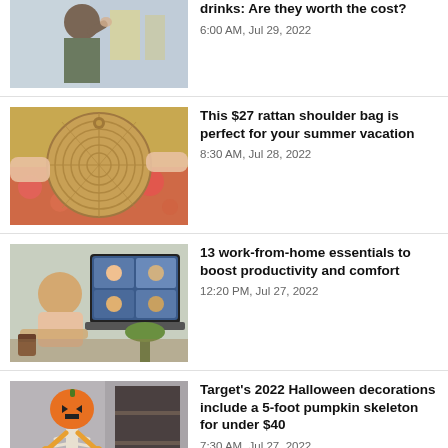[Figure (photo): Man wiping sweat from forehead on a hot city street]
drinks: Are they worth the cost?
6:00 AM, Jul 29, 2022
[Figure (photo): Round woven rattan shoulder bag held by hands against floral fabric background]
This $27 rattan shoulder bag is perfect for your summer vacation
8:30 AM, Jul 28, 2022
[Figure (photo): Woman working from home at laptop with video call showing on screen]
13 work-from-home essentials to boost productivity and comfort
12:20 PM, Jul 27, 2022
[Figure (photo): Orange pumpkin skeleton Halloween decoration standing in front of a building]
Target's 2022 Halloween decorations include a 5-foot pumpkin skeleton for under $40
7:30 AM, Jul 27, 2022